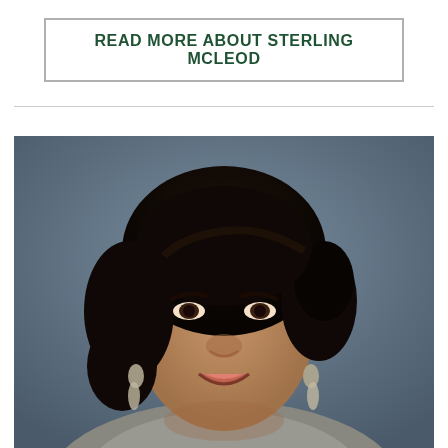READ MORE ABOUT STERLING MCLEOD
[Figure (photo): Professional headshot of Sterling McLeod, a woman with dark curly hair, wearing earrings and a grey jacket, smiling, against a grey-blue background.]